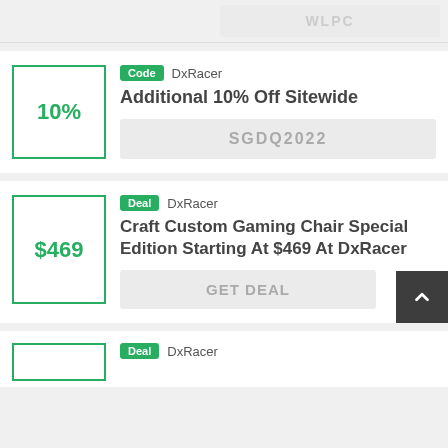[Figure (screenshot): Top strip showing a partially visible coupon code box with grayed text, clipped at top of page]
Code DxRacer — Additional 10% Off Sitewide — SGDQ2022
Deal DxRacer — Craft Custom Gaming Chair Special Edition Starting At $469 At DxRacer — GET DEAL
Deal DxRacer — (partial, clipped at bottom)